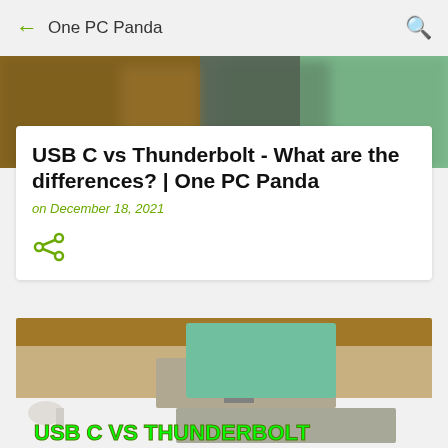← One PC Panda
[Figure (photo): Blurred background photo of a laptop with brown/green tones]
USB C vs Thunderbolt - What are the differences? | One PC Panda
on December 18, 2021
[Figure (photo): Article thumbnail image showing USB C vs Thunderbolt cables and laptops with green overlay text reading USB C VS THUNDERBOLT]